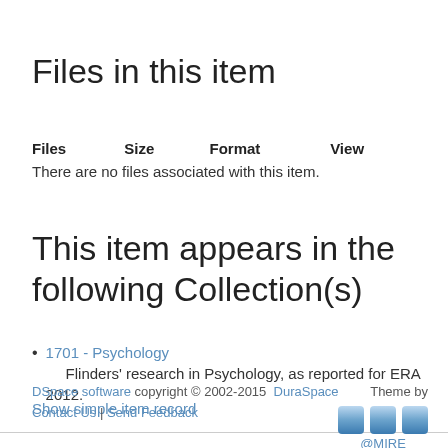Files in this item
| Files | Size | Format | View |
| --- | --- | --- | --- |
| There are no files associated with this item. |  |  |  |
This item appears in the following Collection(s)
1701 - Psychology
Flinders' research in Psychology, as reported for ERA 2012.
Show simple item record
DSpace software copyright © 2002-2015  DuraSpace
Contact Us | Send Feedback
Theme by @MIRE